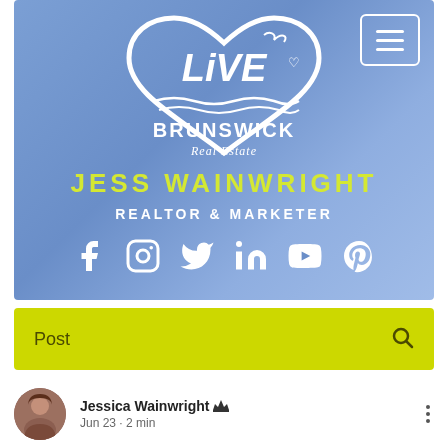[Figure (logo): Live Brunswick Real Estate logo inside a heart shape with seagull, white on blue-purple gradient background, with hamburger menu button top right]
JESS WAINWRIGHT
REALTOR & MARKETER
[Figure (infographic): Social media icons: Facebook, Instagram, Twitter, LinkedIn, YouTube, Pinterest — all white on blue-purple background]
Post
Jessica Wainwright 👑
Jun 23 · 2 min